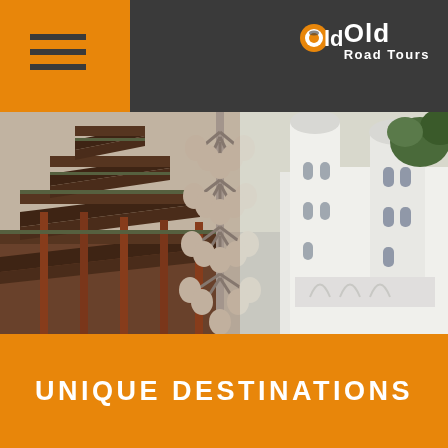Old Road Tours
[Figure (photo): Architectural scene combining a traditional Chinese wooden pagoda on the left with ornate multi-tiered eaves, and white mosque minarets on the right, with a tall decorative street lamp in the center foreground. Sky is light grey. Trees visible at upper right.]
UNIQUE DESTINATIONS